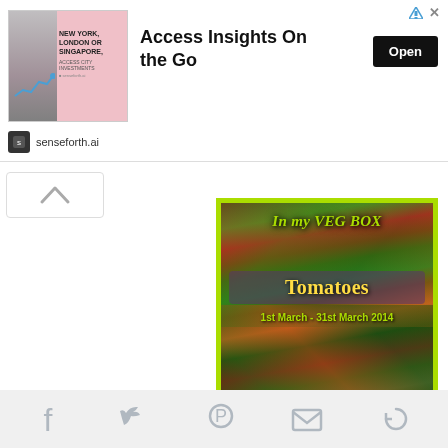[Figure (screenshot): Advertisement banner: senseforth.ai ad with text 'NEW YORK, LONDON OR SINGAPORE,' and headline 'Access Insights On the Go' with an Open button]
[Figure (illustration): Vegbox blog post image: colourful market vegetables and fruits background with text overlay 'In my VEG BOX', 'Tomatoes', '1st March - 31st March 2014', and 'citrusspiceuk.com']
[Figure (other): Social sharing icon bar at bottom with Facebook, Twitter, Pinterest, email, and share icons]